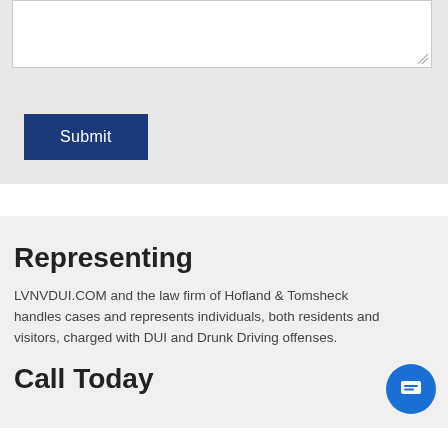[Figure (screenshot): Text area input field (white box with resize handle) inside a light gray form section]
Submit
Representing
LVNVDUI.COM and the law firm of Hofland & Tomsheck handles cases and represents individuals, both residents and visitors, charged with DUI and Drunk Driving offenses.
Call Today